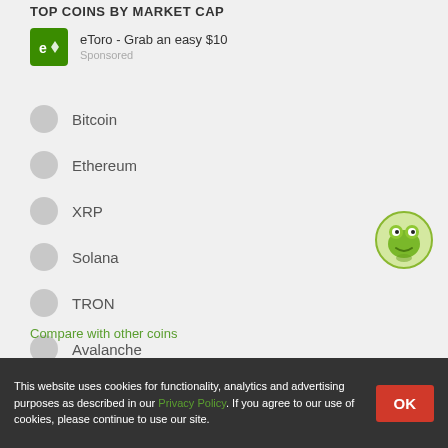TOP COINS BY MARKET CAP
[Figure (logo): eToro green logo with bull icon]
eToro - Grab an easy $10
Sponsored
Bitcoin
Ethereum
XRP
Solana
TRON
Avalanche
Dogecoin
Compare with other coins
[Figure (logo): CoinGecko gecko mascot logo]
This website uses cookies for functionality, analytics and advertising purposes as described in our Privacy Policy. If you agree to our use of cookies, please continue to use our site.